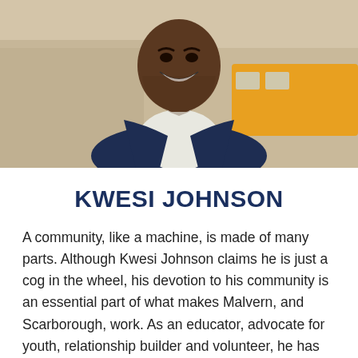[Figure (photo): Professional headshot of Kwesi Johnson, a man in a dark navy suit jacket and white dress shirt, smiling broadly, with a yellow school bus visible in the background.]
KWESI JOHNSON
A community, like a machine, is made of many parts. Although Kwesi Johnson claims he is just a cog in the wheel, his devotion to his community is an essential part of what makes Malvern, and Scarborough, work. As an educator, advocate for youth, relationship builder and volunteer, he has devoted his personal and professional life to his